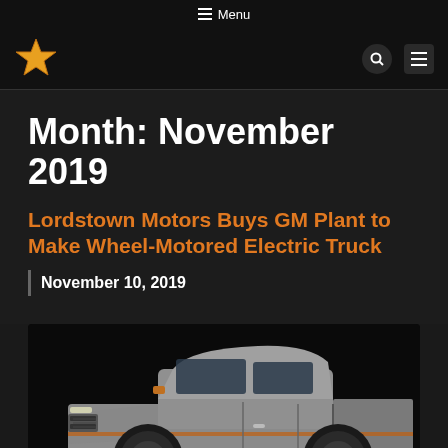☰ Menu
[Figure (logo): Star-shaped logo icon in orange/yellow on black header bar]
Month: November 2019
Lordstown Motors Buys GM Plant to Make Wheel-Motored Electric Truck
November 10, 2019
[Figure (photo): Silver/grey electric pickup truck (Lordstown Endurance) rendered against a dark/black background, showing front three-quarter view]